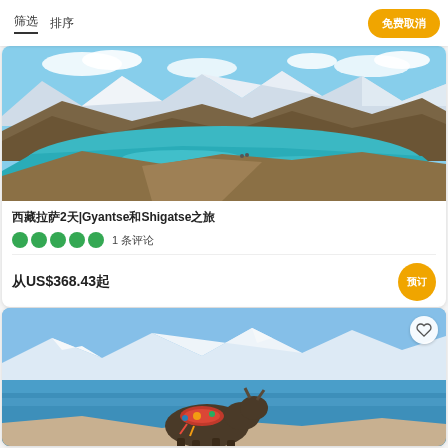筛选  排序  免费取消
[Figure (photo): Aerial view of turquoise mountain lake in Tibet with snow-capped mountains]
西藏拉萨2天|Gyantse和Shigatse之旅
●●●●●  1 条评论
从US$368.43起
[Figure (photo): Yak with decorative saddle by a blue lake in Tibet with snow-capped mountains in background]